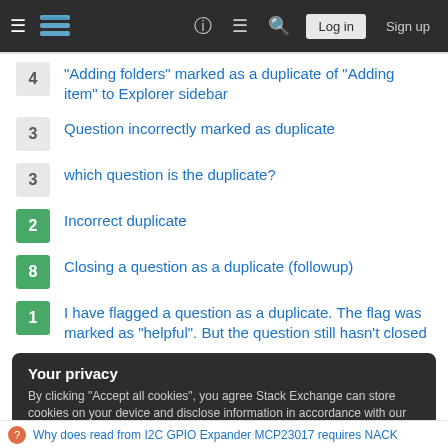Stack Exchange navigation bar with Log in and Sign up buttons
4 — "Adding folders" marked as a duplicate of "Adding item" to Explorer sidebar
3 — Question incorrectly marked as duplicate
3 — which question is the duplicate?
2 — Incorrect duplicate
8 — Closing a question as a duplicate (followup)
1 — I have flagged a question as a duplicate. The flag was marked as "helpful". But the question still hasn't closed
Your privacy
By clicking "Accept all cookies", you agree Stack Exchange can store cookies on your device and disclose information in accordance with our Cookie Policy.
Accept all cookies  Customize settings
Why does read from I2C GPIO Expander MCP23017 requires NACK